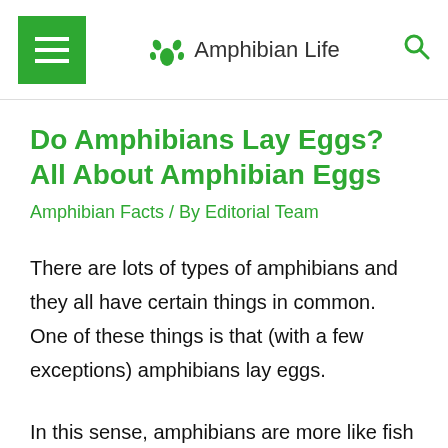Amphibian Life
Do Amphibians Lay Eggs? All About Amphibian Eggs
Amphibian Facts / By Editorial Team
There are lots of types of amphibians and they all have certain things in common. One of these things is that (with a few exceptions) amphibians lay eggs.
In this sense, amphibians are more like fish or birds than they are like mammals. Mammals